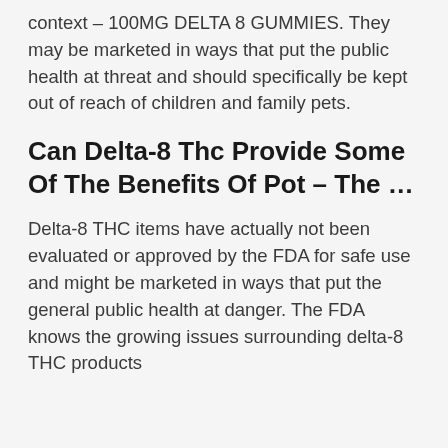context – 100MG DELTA 8 GUMMIES. They may be marketed in ways that put the public health at threat and should specifically be kept out of reach of children and family pets.
Can Delta-8 Thc Provide Some Of The Benefits Of Pot – The ...
Delta-8 THC items have actually not been evaluated or approved by the FDA for safe use and might be marketed in ways that put the general public health at danger. The FDA knows the growing issues surrounding delta-8 THC products